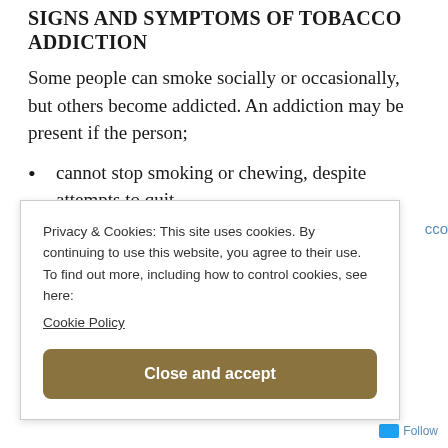SIGNS AND SYMPTOMS OF TOBACCO ADDICTION
Some people can smoke socially or occasionally, but others become addicted. An addiction may be present if the person;
cannot stop smoking or chewing, despite attempts to quit.
has withdrawal symptoms when they try to quit( shaky hands, sweating, irritability rec.)
continues to smoke despite health problems.
Privacy & Cookies: This site uses cookies. By continuing to use this website, you agree to their use.
To find out more, including how to control cookies, see here: Cookie Policy
Close and accept